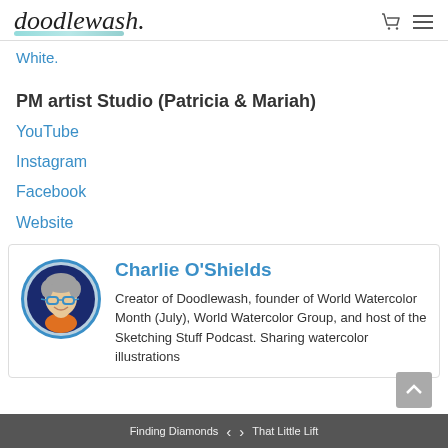doodlewash.
White.
PM artist Studio (Patricia & Mariah)
YouTube
Instagram
Facebook
Website
[Figure (photo): Circular profile photo of Charlie O'Shields, a smiling person with short grey hair wearing blue-rimmed glasses and a dark blue shirt with orange collar, bordered by a blue circle.]
Charlie O'Shields
Creator of Doodlewash, founder of World Watercolor Month (July), World Watercolor Group, and host of the Sketching Stuff Podcast. Sharing watercolor illustrations
Finding Diamonds < > That Little Lift